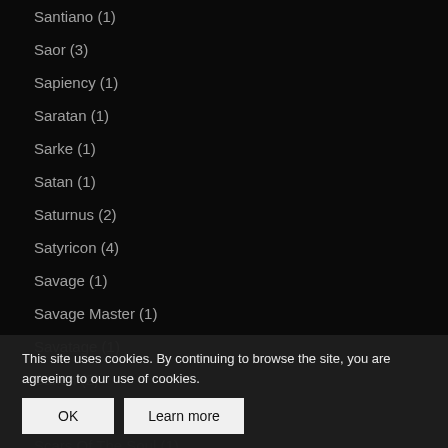Santiano (1)
Saor (3)
Sapiency (1)
Saratan (1)
Sarke (1)
Satan (1)
Saturnus (2)
Satyricon (4)
Savage (1)
Savage Master (1)
Savatage (1)
Saxon (2)
Saxorior (1)
Scars Of The Soul (1)
Scarred By Beauty (...)
Scorpion Child (...)
Scorpions (1)
This site uses cookies. By continuing to browse the site, you are agreeing to our use of cookies.